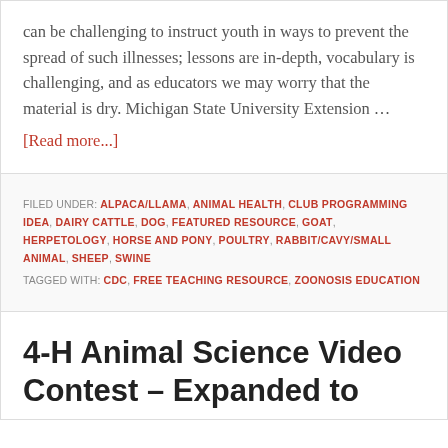can be challenging to instruct youth in ways to prevent the spread of such illnesses; lessons are in-depth, vocabulary is challenging, and as educators we may worry that the material is dry. Michigan State University Extension … [Read more...]
FILED UNDER: ALPACA/LLAMA, ANIMAL HEALTH, CLUB PROGRAMMING IDEA, DAIRY CATTLE, DOG, FEATURED RESOURCE, GOAT, HERPETOLOGY, HORSE AND PONY, POULTRY, RABBIT/CAVY/SMALL ANIMAL, SHEEP, SWINE TAGGED WITH: CDC, FREE TEACHING RESOURCE, ZOONOSIS EDUCATION
4-H Animal Science Video Contest – Expanded to